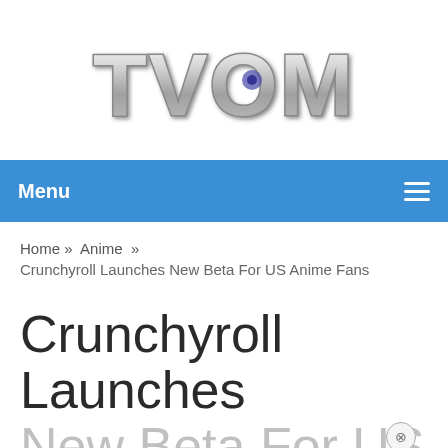[Figure (logo): TVOM website logo with metallic 3D text style]
Menu ☰
Home » Anime » Crunchyroll Launches New Beta For US Anime Fans
Crunchyroll Launches New Beta For US Anime Fans